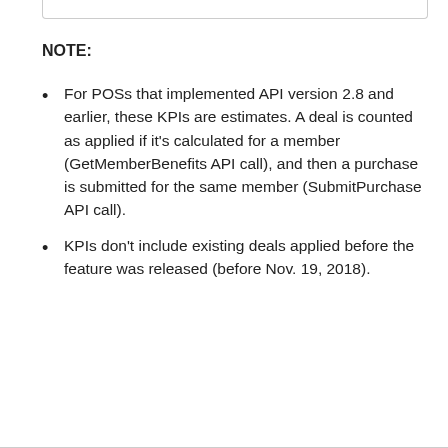NOTE:
For POSs that implemented API version 2.8 and earlier, these KPIs are estimates. A deal is counted as applied if it's calculated for a member (GetMemberBenefits API call), and then a purchase is submitted for the same member (SubmitPurchase API call).
KPIs don't include existing deals applied before the feature was released (before Nov. 19, 2018).